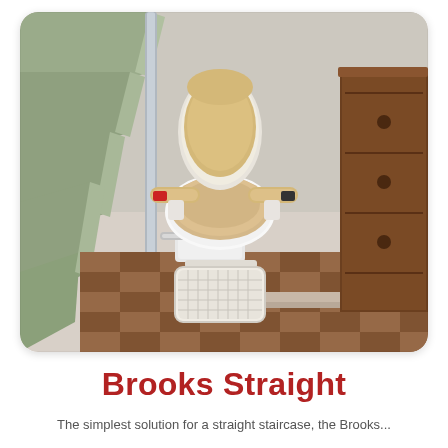[Figure (photo): A stairlift chair (Brooks Straight model) photographed from above at the bottom of a staircase. The chair has a beige/tan padded seat, backrest, and armrests, mounted on a white mechanical unit with a footrest extended. Green carpeted stairs with silver rail are visible on the left, and a wooden chest of drawers is on the right. The floor is brown parquet wood.]
Brooks Straight
The simplest solution for a straight staircase, the Brooks...